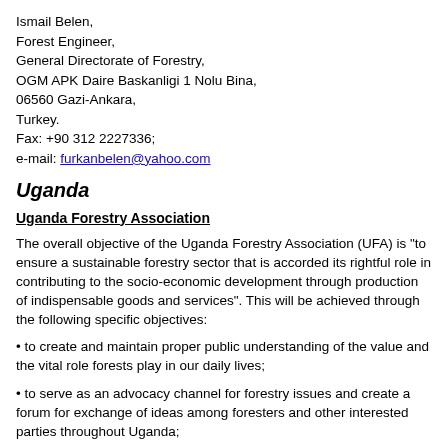Ismail Belen,
Forest Engineer,
General Directorate of Forestry,
OGM APK Daire Baskanligi 1 Nolu Bina,
06560 Gazi-Ankara,
Turkey.
Fax: +90 312 2227336;
e-mail: furkanbelen@yahoo.com
Uganda
Uganda Forestry Association
The overall objective of the Uganda Forestry Association (UFA) is "to ensure a sustainable forestry sector that is accorded its rightful role in contributing to the socio-economic development through production of indispensable goods and services". This will be achieved through the following specific objectives:
• to create and maintain proper public understanding of the value and the vital role forests play in our daily lives;
• to serve as an advocacy channel for forestry issues and create a forum for exchange of ideas among foresters and other interested parties throughout Uganda;
• to promote the effective protection, production and utilization of Uganda's forest resources and in accordance with relevant